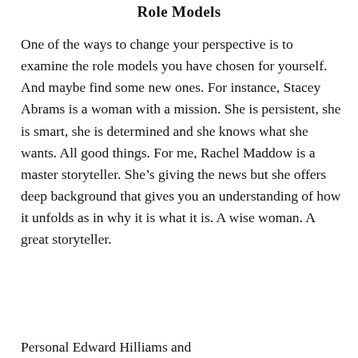Role Models
One of the ways to change your perspective is to examine the role models you have chosen for yourself. And maybe find some new ones. For instance, Stacey Abrams is a woman with a mission. She is persistent, she is smart, she is determined and she knows what she wants. All good things. For me, Rachel Maddow is a master storyteller. She’s giving the news but she offers deep background that gives you an understanding of how it unfolds as in why it is what it is. A wise woman. A great storyteller.
Personal Edward Hilliams and